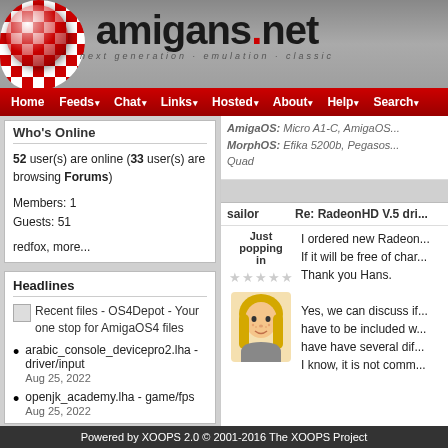amigans.net — next generation · emulation · classic
Home Feeds Chat Links Hosted About Help Search
Who's Online
52 user(s) are online (33 user(s) are browsing Forums)
Members: 1
Guests: 51
redfox, more...
AmigaOS: Micro A1-C, AmigaOS...
MorphOS: Efika 5200b, Pegasos... Quad
Headlines
[Figure (screenshot): Small icon placeholder for OS4Depot feed]
Recent files - OS4Depot - Your one stop for AmigaOS4 files
arabic_console_devicepro2.lha - driver/input
Aug 25, 2022
openjk_academy.lha - game/fps
Aug 25, 2022
sailor
Re: RadeonHD V.5 dri...
Just popping in
I ordered new Radeon...
If it will be free of char...
Thank you Hans.

Yes, we can discuss if...
have to be included w...
have have several dif...
I know, it is not comm...
Powered by XOOPS 2.0 © 2001-2016 The XOOPS Project